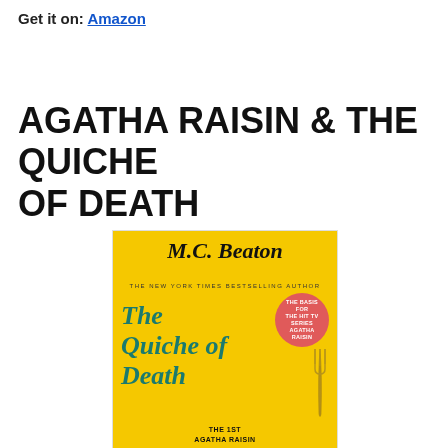Get it on: Amazon
AGATHA RAISIN & THE QUICHE OF DEATH
[Figure (photo): Book cover of 'The Quiche of Death' by M.C. Beaton. Yellow background with cursive author name M.C. Beaton at top, subtitle 'The New York Times Bestselling Author', a pink circular badge reading 'The Basis for the Hit TV Series Agatha Raisin', the cursive title 'The Quiche of Death' in teal/green, and at the bottom 'The 1st Agatha Raisin' text, with a fork/spoon graphic.]